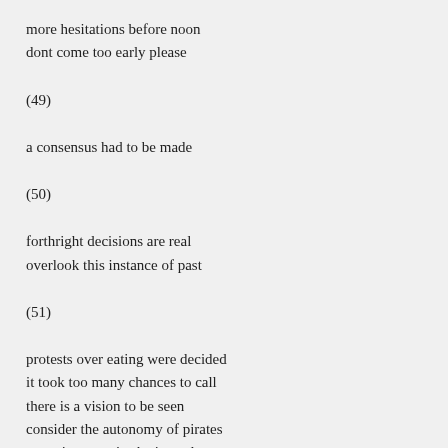more hesitations before noon
dont come too early please
(49)
a consensus had to be made
(50)
forthright decisions are real
overlook this instance of past
(51)
protests over eating were decided
it took too many chances to call
there is a vision to be seen
consider the autonomy of pirates
sometimes a mistake is made